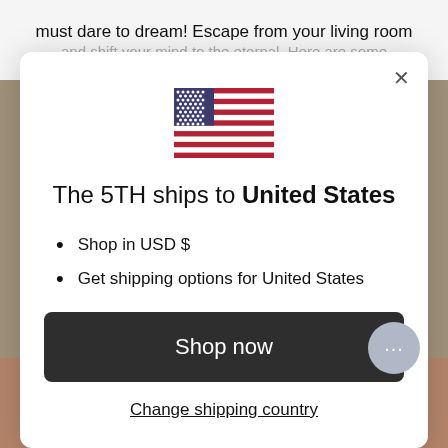must dare to dream! Escape from your living room
and shift your mind to the eternal. Here are some
[Figure (illustration): US flag SVG illustration]
The 5TH ships to United States
Shop in USD $
Get shipping options for United States
Shop now
Change shipping country